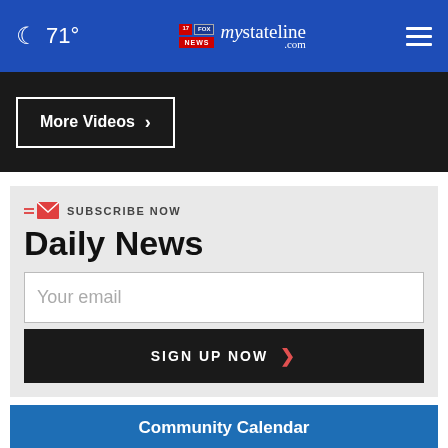71° mystateline.com
More Videos ›
SUBSCRIBE NOW
Daily News
Your email
SIGN UP NOW ›
Community Calendar
SAT   Kane County Cougars vs. Chicago